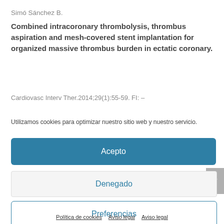Simó Sánchez B.
Combined intracoronary thrombolysis, thrombus aspiration and mesh-covered stent implantation for organized massive thrombus burden in ectatic coronary.
Cardiovasc Interv Ther.2014;29(1):55-59. FI: –
Utilizamos cookies para optimizar nuestro sitio web y nuestro servicio.
Acepto
Denegado
Preferencias
Política de cookies   Aviso legal   Aviso legal